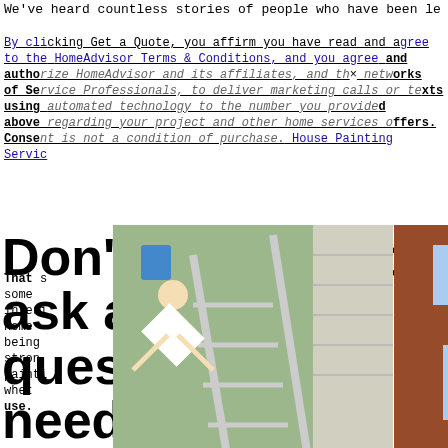We've heard countless stories of people who have been le...
By clicking Get a Quote, you affirm you have read and agree to the HomeAdvisor Terms & Conditions, and you agree and authorize HomeAdvisor and its affiliates, and their networks of Service Professionals, to deliver marketing calls or texts using automated technology to the number you provided above regarding your project and other home services offers. Consent is not a condition of purchase. House Painting Services
[Figure (photo): Three photos of people falling off ladders while painting houses]
That said, hiring a professional painter is an important, sometimes life-saving choice. Whether you need interior or exterior painting, or both, a reputable home painting company should offer you a thorough area being painted, the paint products used, a strong warranty on their painting work. A painting estimate should also clue you in about whether or not they will remove the ladder for use.
Don't hesitate to ask all the questions you need to feel